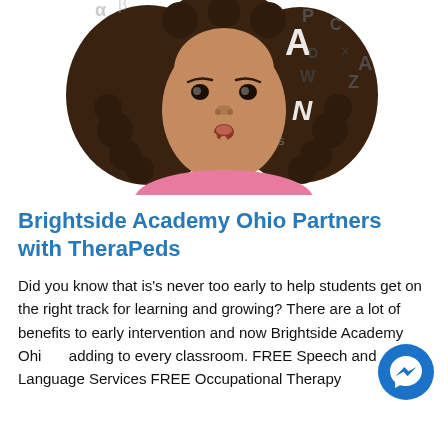[Figure (photo): A young girl with curly hair looking surprised, with letters and characters floating around her head on a white background.]
Brightside Academy Ohio Partners with TheraPeds
Did you know that is's never too early to help students get on the right track for learning and growing? There are a lot of benefits to early intervention and now Brightside Academy Ohio adding to every classroom. FREE Speech and Language Services FREE Occupational Therapy